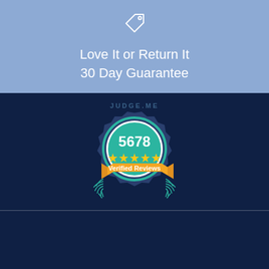[Figure (illustration): Price tag icon outline in white on blue background]
Love It or Return It
30 Day Guarantee
[Figure (logo): Judge.me badge with 5678 verified reviews, five yellow stars, orange/teal ribbon on dark navy background]
Company
About Us